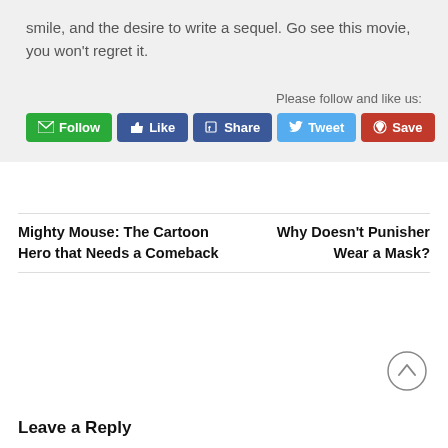smile, and the desire to write a sequel. Go see this movie, you won't regret it.
Please follow and like us:
[Figure (other): Social media buttons: Follow (green), Like (Facebook blue), Share (Facebook blue), Tweet (Twitter blue), Save (Pinterest red)]
Mighty Mouse: The Cartoon Hero that Needs a Comeback
Why Doesn't Punisher Wear a Mask?
[Figure (other): Scroll-to-top circular arrow button]
Leave a Reply